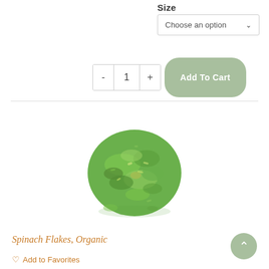Size
Choose an option
- 1 +
Add To Cart
[Figure (photo): Pile of dried green spinach flakes photographed from above on a white background, forming a roughly circular mound.]
Spinach Flakes, Organic
♡ Add to Favorites